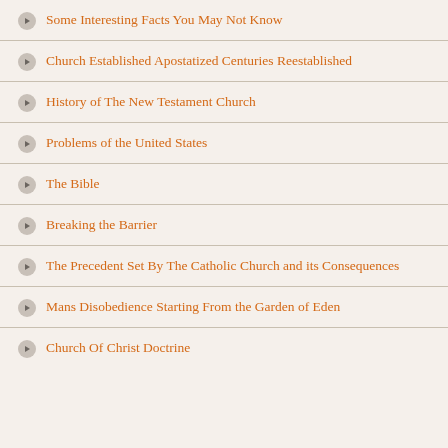Some Interesting Facts You May Not Know
Church Established Apostatized Centuries Reestablished
History of The New Testament Church
Problems of the United States
The Bible
Breaking the Barrier
The Precedent Set By The Catholic Church and its Consequences
Mans Disobedience Starting From the Garden of Eden
Church Of Christ Doctrine